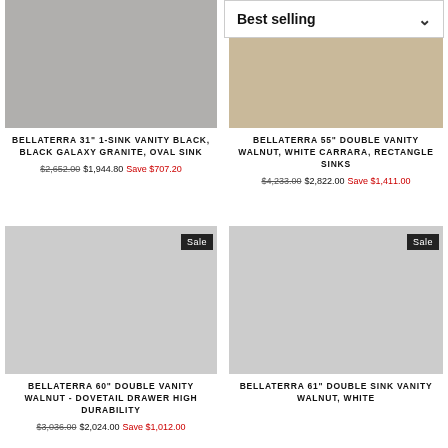Best selling (dropdown filter)
[Figure (photo): Bellaterra 31-inch 1-sink vanity in black with black galaxy granite and oval sink, shown in bathroom setting]
BELLATERRA 31" 1-SINK VANITY BLACK, BLACK GALAXY GRANITE, OVAL SINK
$2,652.00  $1,944.80  Save $707.20
[Figure (photo): Bellaterra 55-inch double vanity in walnut with white carrara and rectangle sinks, shown in bathroom setting]
BELLATERRA 55" DOUBLE VANITY WALNUT, WHITE CARRARA, RECTANGLE SINKS
$4,233.00  $2,822.00  Save $1,411.00
[Figure (photo): Bellaterra 60-inch double vanity walnut with dovetail drawer high durability, Sale badge shown]
BELLATERRA 60" DOUBLE VANITY WALNUT - DOVETAIL DRAWER HIGH DURABILITY
$3,036.00  $2,024.00  Save $1,012.00
[Figure (photo): Bellaterra 61-inch double sink vanity walnut white, Sale badge shown, partially visible]
BELLATERRA 61" DOUBLE SINK VANITY WALNUT, WHITE